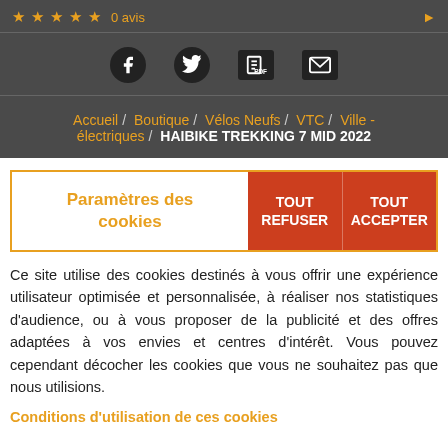★★★★★ 0 avis
[Figure (other): Social sharing icons: Facebook, Twitter, PDF, Email]
Accueil / Boutique / Vélos Neufs / VTC / Ville - électriques / HAIBIKE TREKKING 7 MID 2022
Paramètres des cookies | TOUT REFUSER | TOUT ACCEPTER
Ce site utilise des cookies destinés à vous offrir une expérience utilisateur optimisée et personnalisée, à réaliser nos statistiques d'audience, ou à vous proposer de la publicité et des offres adaptées à vos envies et centres d'intérêt. Vous pouvez cependant décocher les cookies que vous ne souhaitez pas que nous utilisions.
Conditions d'utilisation de ces cookies